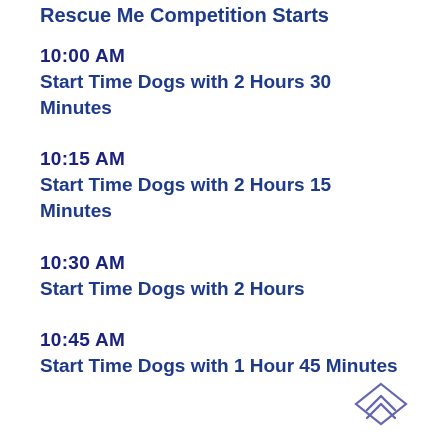Rescue Me Competition Starts
10:00 AM
Start Time Dogs with 2 Hours 30 Minutes
10:15 AM
Start Time Dogs with 2 Hours 15 Minutes
10:30 AM
Start Time Dogs with 2 Hours
10:45 AM
Start Time Dogs with 1 Hour 45 Minutes